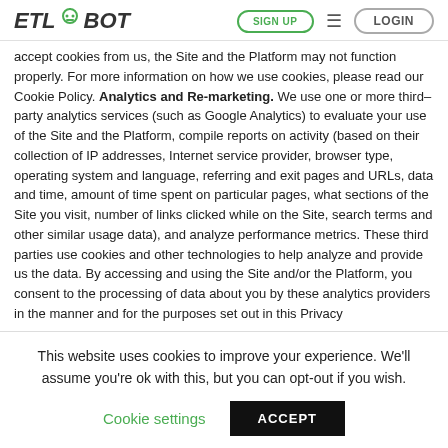ETL ROBOT | SIGN UP | LOGIN
accept cookies from us, the Site and the Platform may not function properly. For more information on how we use cookies, please read our Cookie Policy. Analytics and Re-marketing. We use one or more third–party analytics services (such as Google Analytics) to evaluate your use of the Site and the Platform, compile reports on activity (based on their collection of IP addresses, Internet service provider, browser type, operating system and language, referring and exit pages and URLs, data and time, amount of time spent on particular pages, what sections of the Site you visit, number of links clicked while on the Site, search terms and other similar usage data), and analyze performance metrics. These third parties use cookies and other technologies to help analyze and provide us the data. By accessing and using the Site and/or the Platform, you consent to the processing of data about you by these analytics providers in the manner and for the purposes set out in this Privacy
This website uses cookies to improve your experience. We'll assume you're ok with this, but you can opt-out if you wish.
Cookie settings | ACCEPT